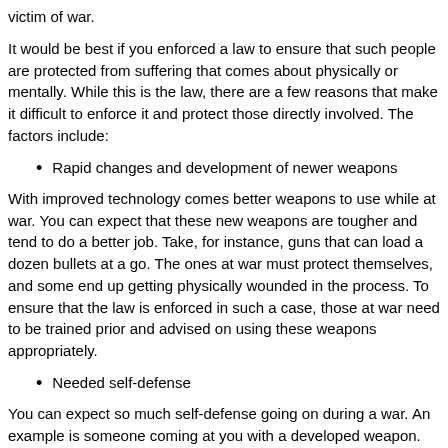victim of war.
It would be best if you enforced a law to ensure that such people are protected from suffering that comes about physically or mentally. While this is the law, there are a few reasons that make it difficult to enforce it and protect those directly involved. The factors include:
Rapid changes and development of newer weapons
With improved technology comes better weapons to use while at war. You can expect that these new weapons are tougher and tend to do a better job. Take, for instance, guns that can load a dozen bullets at a go. The ones at war must protect themselves, and some end up getting physically wounded in the process. To ensure that the law is enforced in such a case, those at war need to be trained prior and advised on using these weapons appropriately.
Needed self-defense
You can expect so much self-defense going on during a war. An example is someone coming at you with a developed weapon. You already know that the moment they execute using their weapon, you could be injured or probably lose yourself. This is what we call physical suffering. As such, the rule of law fails to apply because one must protect themselves and ensure that what took one to war is accomplished.